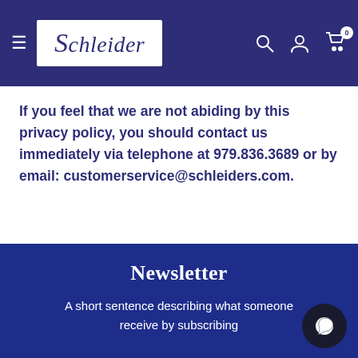Schleider (navigation bar with logo, search, account, cart icons)
If you feel that we are not abiding by this privacy policy, you should contact us immediately via telephone at 979.836.3689 or by email: customerservice@schleiders.com.
Newsletter
A short sentence describing what someone receive by subscribing